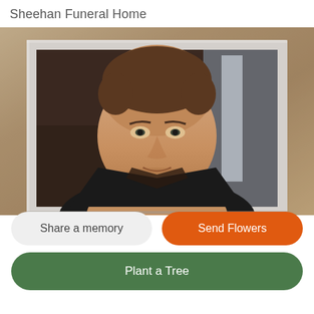Sheehan Funeral Home
[Figure (photo): Memorial portrait photo of a middle-aged man with short brown hair, wearing a dark jacket, looking directly at the camera. Photo displayed in a cream/off-white frame with decorative background.]
Share a memory
Send Flowers
Plant a Tree